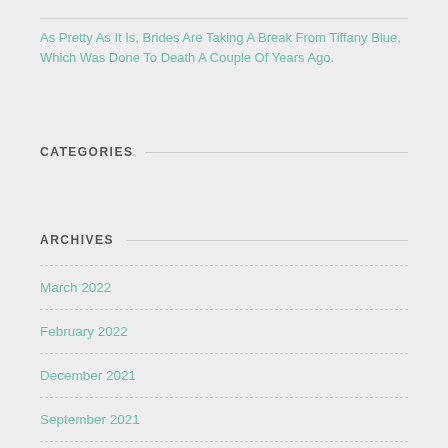As Pretty As It Is, Brides Are Taking A Break From Tiffany Blue, Which Was Done To Death A Couple Of Years Ago.
CATEGORIES
ARCHIVES
March 2022
February 2022
December 2021
September 2021